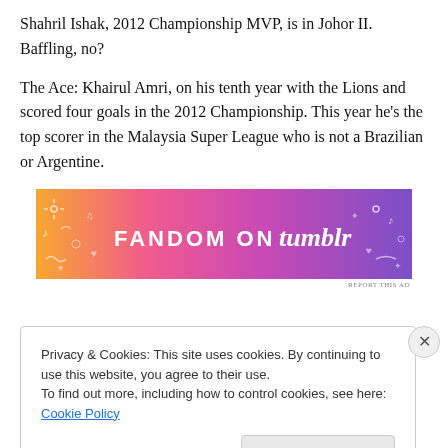Shahril Ishak, 2012 Championship MVP, is in Johor II. Baffling, no?
The Ace: Khairul Amri, on his tenth year with the Lions and scored four goals in the 2012 Championship. This year he's the top scorer in the Malaysia Super League who is not a Brazilian or Argentine.
[Figure (illustration): Fandom on Tumblr advertisement banner with colorful gradient background (orange, pink, purple) and decorative doodles]
REPORT THIS AD
Privacy & Cookies: This site uses cookies. By continuing to use this website, you agree to their use.
To find out more, including how to control cookies, see here: Cookie Policy
Close and accept